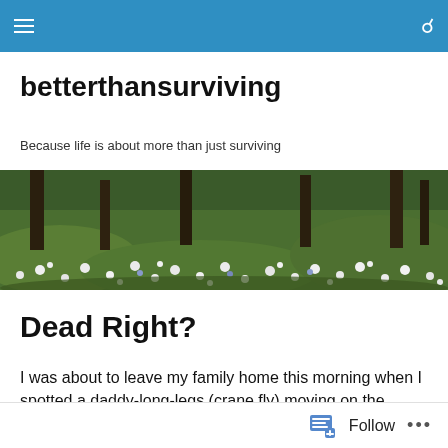betterthansurviving
betterthansurviving
Because life is about more than just surviving
[Figure (photo): Wide banner photograph of a woodland floor covered in white wildflowers (wild garlic/bluebells) with tree trunks in the background]
Dead Right?
I was about to leave my family home this morning when I spotted a daddy-long-legs (crane fly) moving on the spare bed in my childhood bedroom. I'd first seen it on Saturday